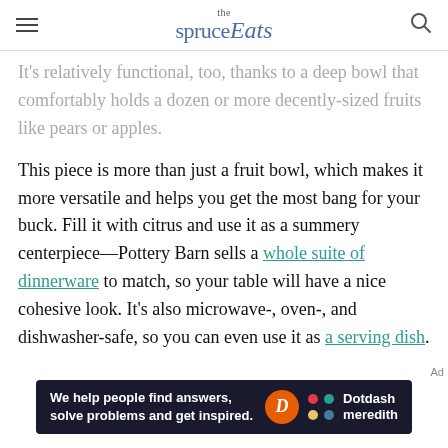the spruce Eats
It's relatively functional, too, thanks to a deep bowl that comfortably holds a dozen or more decently-sized fruits like pears or apples.
This piece is more than just a fruit bowl, which makes it more versatile and helps you get the most bang for your buck. Fill it with citrus and use it as a summery centerpiece—Pottery Barn sells a whole suite of dinnerware to match, so your table will have a nice cohesive look. It's also microwave-, oven-, and dishwasher-safe, so you can even use it as a serving dish.
[Figure (other): Dotdash Meredith advertisement banner: 'We help people find answers, solve problems and get inspired.' with Dotdash Meredith logo]